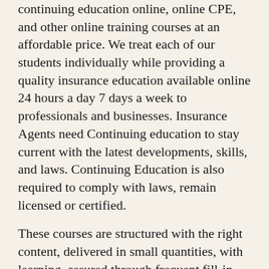ONLine Training strives to provide high quality continuing education online, online CPE, and other online training courses at an affordable price. We treat each of our students individually while providing a quality insurance education available online 24 hours a day 7 days a week to professionals and businesses. Insurance Agents need Continuing education to stay current with the latest developments, skills, and laws. Continuing Education is also required to comply with laws, remain licensed or certified.
These courses are structured with the right content, delivered in small quantities, with learning, assured through frequent fill-in-the-blank questions, elements of information emphasized, and instructor-guided learning. Several tools are provided to make your learning straightforward and comprehensive.
Your course contains Lessons, Quizzes, and a Final Exam. Lessons are not graded, the grade shown is for your information only.